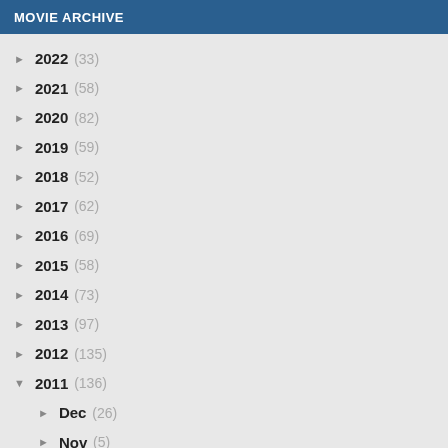MOVIE ARCHIVE
► 2022 (33)
► 2021 (58)
► 2020 (82)
► 2019 (59)
► 2018 (52)
► 2017 (62)
► 2016 (69)
► 2015 (58)
► 2014 (73)
► 2013 (97)
► 2012 (135)
▼ 2011 (136)
► Dec (26)
► Nov (5)